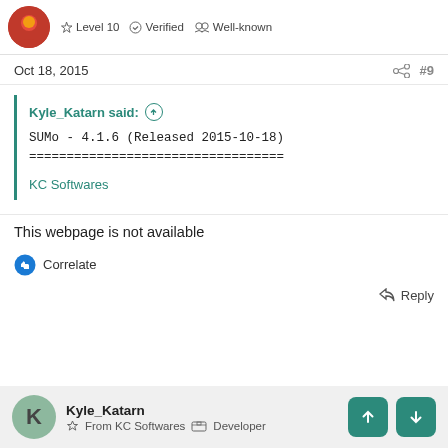Level 10  Verified  Well-known
Oct 18, 2015  #9
Kyle_Katarn said: ↑

SUMo - 4.1.6 (Released 2015-10-18)
==================================

KC Softwares
This webpage is not available
👍 Correlate
↩ Reply
Kyle_Katarn  From KC Softwares  Developer